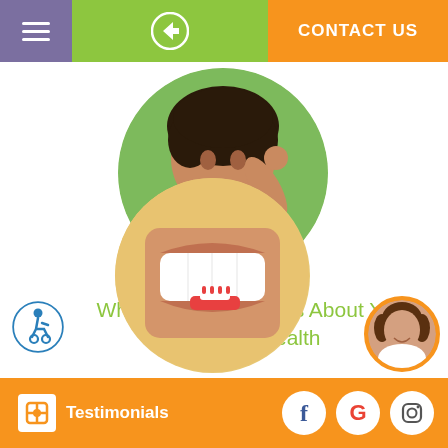CONTACT US
[Figure (photo): Smiling young girl with curly hair touching her head, circular cropped photo]
[Figure (illustration): Accessibility icon — person in wheelchair in blue circle]
What Your Smile Says About Your Overall Health
[Figure (photo): Close-up of person smiling with toothbrush, circular cropped photo]
[Figure (photo): Female agent/receptionist headshot, circular cropped, orange border]
Testimonials